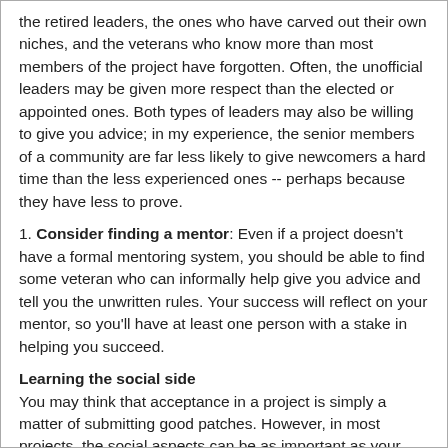the retired leaders, the ones who have carved out their own niches, and the veterans who know more than most members of the project have forgotten. Often, the unofficial leaders may be given more respect than the elected or appointed ones. Both types of leaders may also be willing to give you advice; in my experience, the senior members of a community are far less likely to give newcomers a hard time than the less experienced ones -- perhaps because they have less to prove.
1. Consider finding a mentor: Even if a project doesn't have a formal mentoring system, you should be able to find some veteran who can informally help give you advice and tell you the unwritten rules. Your success will reflect on your mentor, so you'll have at least one person with a stake in helping you succeed.
Learning the social side
You may think that acceptance in a project is simply a matter of submitting good patches. However, in most projects, the social aspects can be as important as your work. How you conduct yourself and who supports you sometimes matters as much as much as merit, even if many people believe otherwise. Being obsequious will work against you, but, the social aspects are inevitable, so you might as well make sure that they are working for you rather than against you.